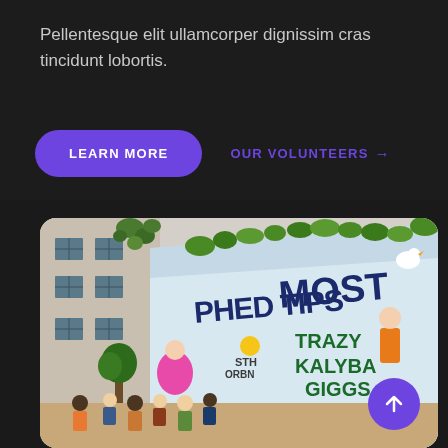Pellentesque elit ullamcorper dignissim cras tincidunt lobortis.
LEARN MORE
OUR VOLUNTEERS →
[Figure (photo): Colorful graffiti mural on a building wall with crowds of people, featuring large graffiti text reading 'PHED TIPS MOST', 'TRAZY KALYBA GIGGS', and other graffiti art with cartoon characters. Building with windows and ivy visible on the left.]